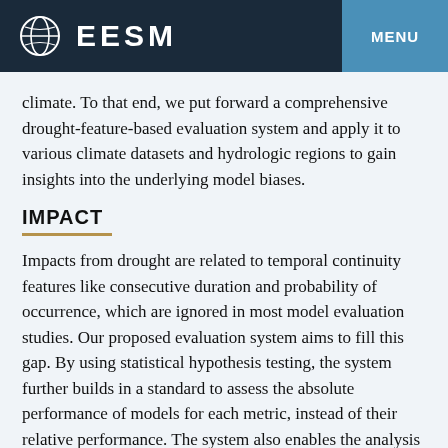EESM  MENU
climate. To that end, we put forward a comprehensive drought-feature-based evaluation system and apply it to various climate datasets and hydrologic regions to gain insights into the underlying model biases.
IMPACT
Impacts from drought are related to temporal continuity features like consecutive duration and probability of occurrence, which are ignored in most model evaluation studies. Our proposed evaluation system aims to fill this gap. By using statistical hypothesis testing, the system further builds in a standard to assess the absolute performance of models for each metric, instead of their relative performance. The system also enables the analysis of